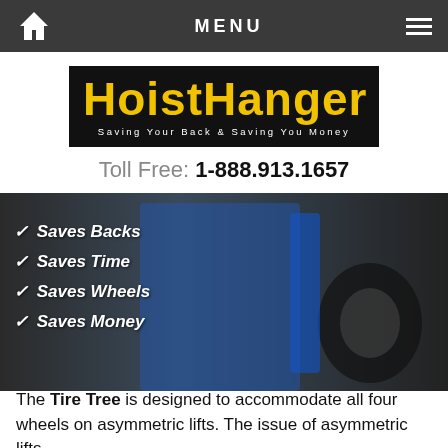MENU
[Figure (logo): HoistHanger logo — black background, yellow bold text 'HOISTHANGER', white subtitle 'SAVING YOUR BACK & SAVING YOU MONEY']
Toll Free: 1-888.913.1657
[Figure (photo): A mechanic in a blue jumpsuit handling a tire next to a blue tire changing machine. Overlaid checklist text: ✓ Saves Backs, ✓ Saves Time, ✓ Saves Wheels, ✓ Saves Money]
The Tire Tree is designed to accommodate all four wheels on asymmetric lifts. The issue of asymmetric lifts